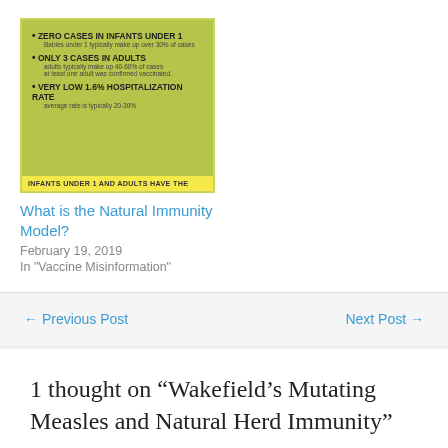[Figure (infographic): Green infographic card with bullet points: ZERO CASES IN INFANTS UNDER 1, ONLY 3 CASES IN ADULTS, VERY LOW 1.6% HOSPITALIZATION RATE, yellow banner at bottom reading INFANTS UNDER 1 AND ADULTS HAVE THE]
What is the Natural Immunity Model?
February 19, 2019
In "Vaccine Misinformation"
← Previous Post
Next Post →
1 thought on “Wakefield’s Mutating Measles and Natural Herd Immunity”